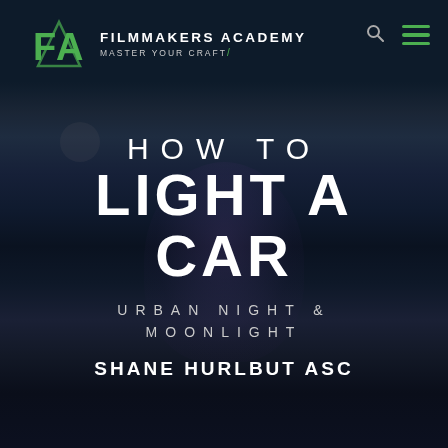[Figure (logo): Filmmakers Academy logo: green FA monogram with FILMMAKERS ACADEMY and MASTER YOUR CRAFT text]
FILMMAKERS ACADEMY MASTER YOUR CRAFT
[Figure (photo): Dark cinematic background with a person's face faintly visible, lit with purple/blue urban night light]
HOW TO LIGHT A CAR
URBAN NIGHT & MOONLIGHT
SHANE HURLBUT ASC